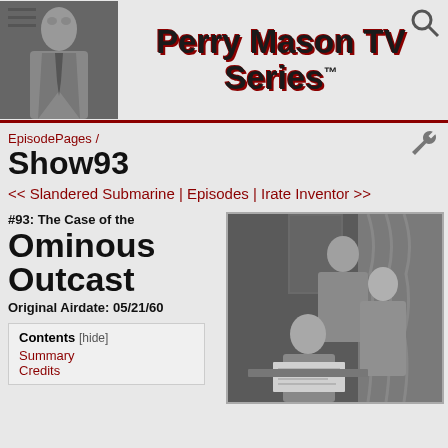Perry Mason TV Series™
EpisodePages / Show93
<< Slandered Submarine | Episodes | Irate Inventor >>
#93: The Case of the Ominous Outcast
Original Airdate: 05/21/60
[Figure (photo): Black and white photo of three actors from the Perry Mason TV show looking at a newspaper]
Contents [hide]
Summary
Credits